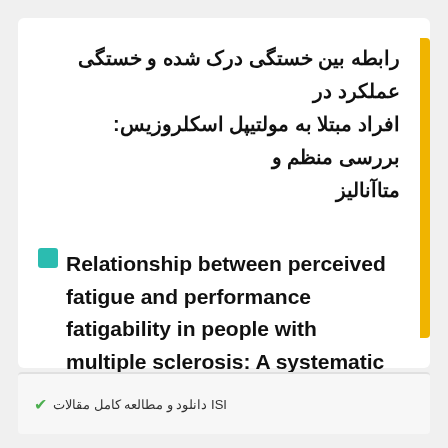رابطه بین خستگی درک شده و خستگی عملکرد در افراد مبتلا به مولتیپل اسکلروزیس: بررسی منظم و متاآنالیز
Relationship between perceived fatigue and performance fatigability in people with multiple sclerosis: A systematic review and meta-analysis
Keywords: اختصار; Contraction; Energy; Exercise; Perception; Symptom; Tired;
دانلود و مطالعه کامل مقالات ISI